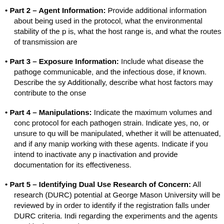Part 2 – Agent Information: Provide additional information about being used in the protocol, what the environmental stability of the p is, what the host range is, and what the routes of transmission are
Part 3 – Exposure Information: Include what disease the pathoge communicable, and the infectious dose, if known. Describe the sy Additionally, describe what host factors may contribute to the onse
Part 4 – Manipulations: Indicate the maximum volumes and conc protocol for each pathogen strain. Indicate yes, no, or unsure to qu will be manipulated, whether it will be attenuated, and if any manip working with these agents. Indicate if you intend to inactivate any p inactivation and provide documentation for its effectiveness.
Part 5 – Identifying Dual Use Research of Concern: All research (DURC) potential at George Mason University will be reviewed by in order to identify if the registration falls under DURC criteria. Indi regarding the experiments and the agents used in the protocol.
Part 6 –Dual Use Research of Concern – Benefits and Risks of P knowledge, information, technology, or products are expected to b Describe if this research or the research methods used are new or